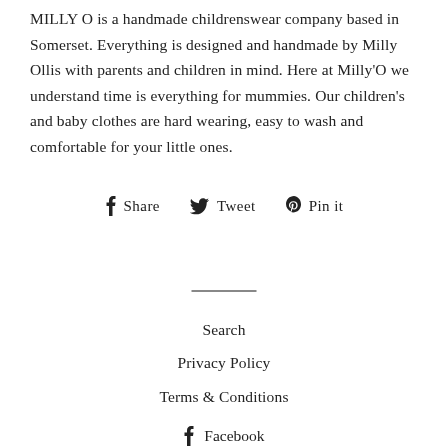MILLY O is a handmade childrenswear company based in Somerset. Everything is designed and handmade by Milly Ollis with parents and children in mind. Here at Milly'O we understand time is everything for mummies. Our children's and baby clothes are hard wearing, easy to wash and comfortable for your little ones.
Share  Tweet  Pin it
Search
Privacy Policy
Terms & Conditions
Facebook